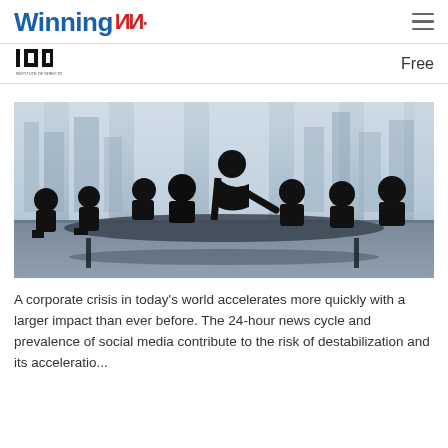Winning
Free
[Figure (photo): Silhouettes of business people seated around a conference table with a city skyline visible through large windows in the background. One person is standing and leaning forward, appearing to present something.]
A corporate crisis in today's world accelerates more quickly with a larger impact than ever before. The 24-hour news cycle and prevalence of social media contribute to the risk of destabilization and its acceleratio...